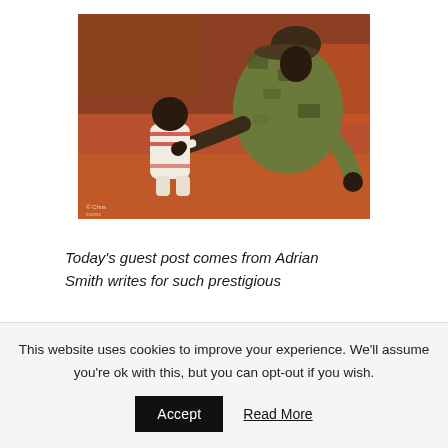[Figure (photo): A soldier in camouflage uniform bending down to interact with a small baby/toddler in a white and red knit outfit. The background shows a reddish-brown dirt ground and blurred structures.]
Today's guest post comes from Adrian Smith writes for such prestigious
This website uses cookies to improve your experience. We'll assume you're ok with this, but you can opt-out if you wish.